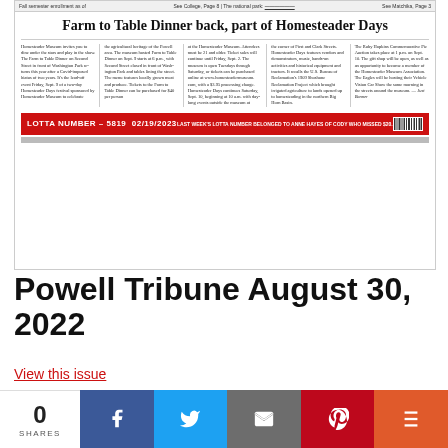[Figure (screenshot): Newspaper front page thumbnail of Powell Tribune showing headline 'Farm to Table Dinner back, part of Homesteader Days', multiple text columns, a red Lotta Number bar reading '5819 02/19/2023', and a gray bar at the bottom.]
Powell Tribune August 30, 2022
View this issue
Browse other issues
0 SHARES